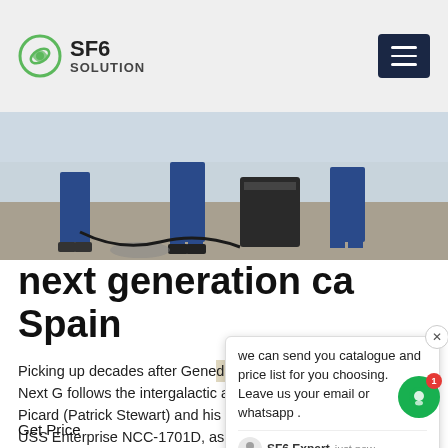SF6 SOLUTION
[Figure (photo): Workers in blue uniforms standing outdoors, likely performing industrial equipment maintenance]
next generation ca Spain
Picking up decades after Gene d original Star Trek series, The Next G follows the intergalactic adventures of Capt. Jean-Luc Picard (Patrick Stewart) and his loyal crew aboard the all-new USS Enterprise NCC-1701D, as they explore new worlds. Starring. Patrick Stewart, Jonathan Frakes, Levar Burton. Genres.
Get Price